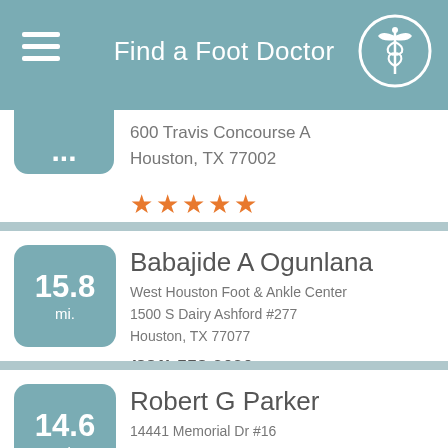Find a Foot Doctor
600 Travis Concourse A
Houston, TX 77002
[Figure (other): 5 orange star rating]
15.8 mi.
Babajide A Ogunlana
West Houston Foot & Ankle Center
1500 S Dairy Ashford #277
Houston, TX 77077
(281) 558-9090
[Figure (other): 5 orange star rating]
14.6 mi.
Robert G Parker
14441 Memorial Dr #16
Houston, TX 77079